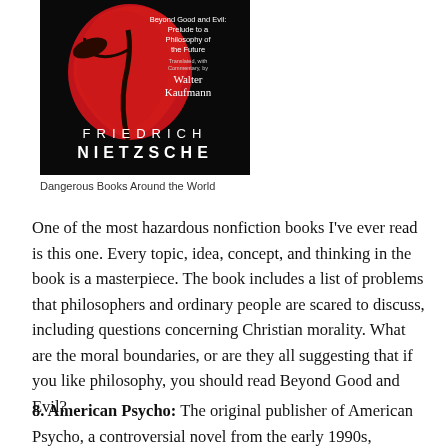[Figure (photo): Book cover of 'Beyond Good and Evil: Prelude to a Philosophy of the Future' by Friedrich Nietzsche, translated with commentary by Walter Kaufmann. Black background with a large red stylized rose/flower. Author name FRIEDRICH NIETZSCHE in large spaced white letters at bottom.]
Dangerous Books Around the World
One of the most hazardous nonfiction books I've ever read is this one. Every topic, idea, concept, and thinking in the book is a masterpiece. The book includes a list of problems that philosophers and ordinary people are scared to discuss, including questions concerning Christian morality. What are the moral boundaries, or are they all suggesting that if you like philosophy, you should read Beyond Good and Evil?
8. American Psycho: The original publisher of American Psycho, a controversial novel from the early 1990s, dropped it.